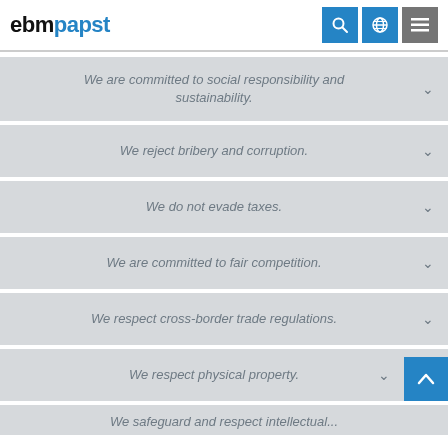ebmpapst
We are committed to social responsibility and sustainability.
We reject bribery and corruption.
We do not evade taxes.
We are committed to fair competition.
We respect cross-border trade regulations.
We respect physical property.
We safeguard and respect intellectual...